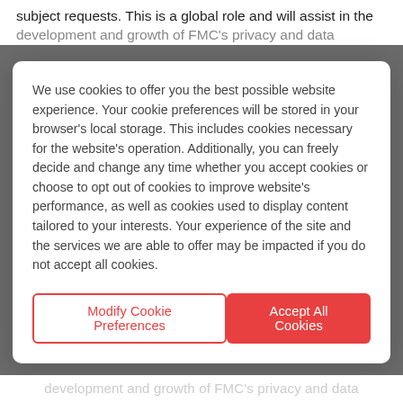subject requests. This is a global role and will assist in the development and growth of FMC's privacy and data
We use cookies to offer you the best possible website experience. Your cookie preferences will be stored in your browser's local storage. This includes cookies necessary for the website's operation. Additionally, you can freely decide and change any time whether you accept cookies or choose to opt out of cookies to improve website's performance, as well as cookies used to display content tailored to your interests. Your experience of the site and the services we are able to offer may be impacted if you do not accept all cookies.
Modify Cookie Preferences
Accept All Cookies
development and growth of FMC's privacy and data